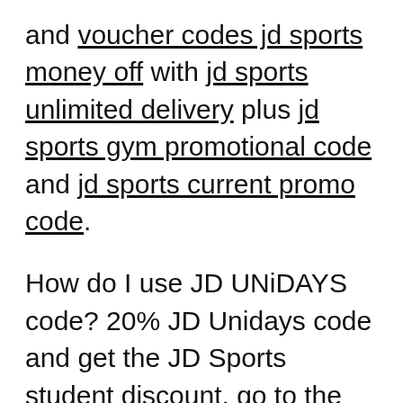and voucher codes jd sports money off with jd sports unlimited delivery plus jd sports gym promotional code and jd sports current promo code.
How do I use JD UNiDAYS code? 20% JD Unidays code and get the JD Sports student discount, go to the student page on JD and verify your student status with Unidays, you'll be